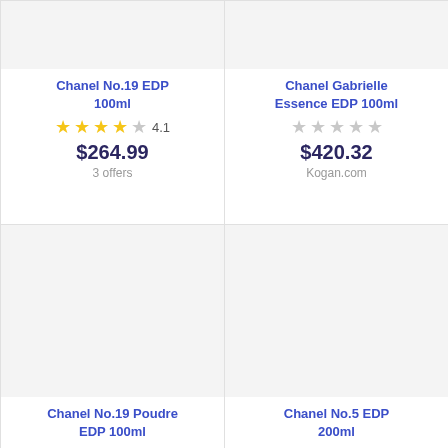[Figure (photo): Product image placeholder for Chanel No.19 EDP 100ml (top-left card)]
Chanel No.19 EDP 100ml
★★★★☆ 4.1
$264.99
3 offers
[Figure (photo): Product image placeholder for Chanel Gabrielle Essence EDP 100ml (top-right card)]
Chanel Gabrielle Essence EDP 100ml
☆☆☆☆☆
$420.32
Kogan.com
[Figure (photo): Product image placeholder for Chanel No.19 Poudre EDP 100ml (bottom-left card)]
Chanel No.19 Poudre EDP 100ml
★★★★★
[Figure (photo): Product image placeholder for Chanel No.5 EDP 200ml (bottom-right card)]
Chanel No.5 EDP 200ml
★★★★☆